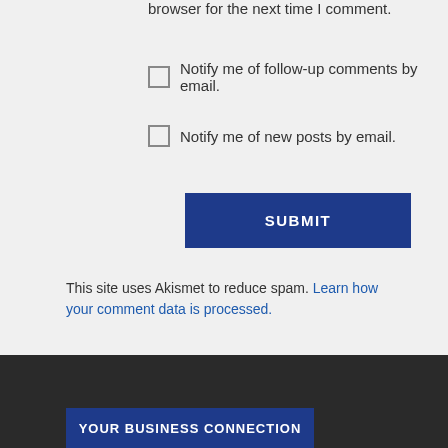browser for the next time I comment.
Notify me of follow-up comments by email.
Notify me of new posts by email.
SUBMIT
This site uses Akismet to reduce spam. Learn how your comment data is processed.
YOUR BUSINESS CONNECTION